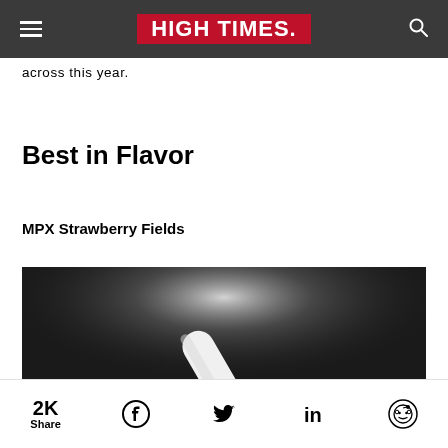HIGH TIMES
across this year.
Best in Flavor
MPX Strawberry Fields
[Figure (photo): Close-up photo of a white vape pen or similar device on a dark background with light reflecting off it]
2K Share | Facebook | Twitter | LinkedIn | Reddit